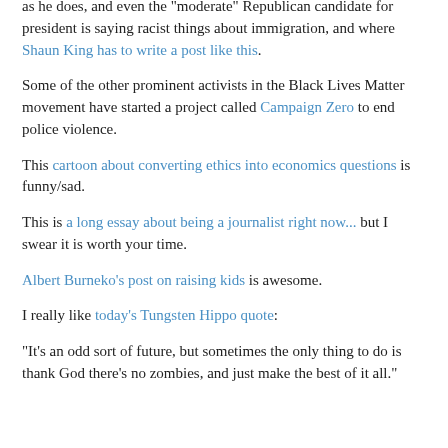as he does, and even the "moderate" Republican candidate for president is saying racist things about immigration, and where Shaun King has to write a post like this.
Some of the other prominent activists in the Black Lives Matter movement have started a project called Campaign Zero to end police violence.
This cartoon about converting ethics into economics questions is funny/sad.
This is a long essay about being a journalist right now... but I swear it is worth your time.
Albert Burneko's post on raising kids is awesome.
I really like today's Tungsten Hippo quote:
"It's an odd sort of future, but sometimes the only thing to do is thank God there’s no zombies, and just make the best of it all."